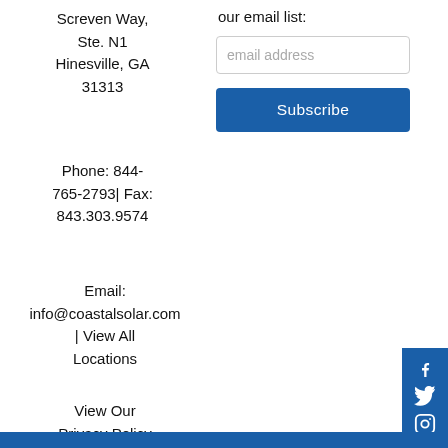Screven Way, Ste. N1 Hinesville, GA 31313
our email list:
Phone: 844-765-2793| Fax: 843.303.9574
Email: info@coastalsolar.com | View All Locations
View Our Privacy Policy
[Figure (other): Social media icons bar on the right side: Facebook, Twitter, Instagram icons in white on blue background]